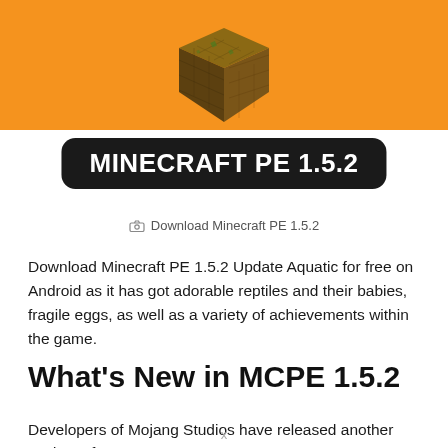[Figure (illustration): Minecraft dirt block on an orange banner background]
MINECRAFT PE 1.5.2
Download Minecraft PE 1.5.2
Download Minecraft PE 1.5.2 Update Aquatic for free on Android as it has got adorable reptiles and their babies, fragile eggs, as well as a variety of achievements within the game.
What’s New in MCPE 1.5.2
Developers of Mojang Studios have released another Update of